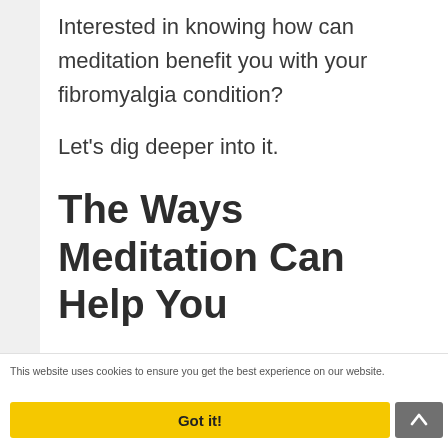Interested in knowing how can meditation benefit you with your fibromyalgia condition?
Let's dig deeper into it.
The Ways Meditation Can Help You
A clinical trial on the use of meditation in women suffering
This website uses cookies to ensure you get the best experience on our website.
Got it!